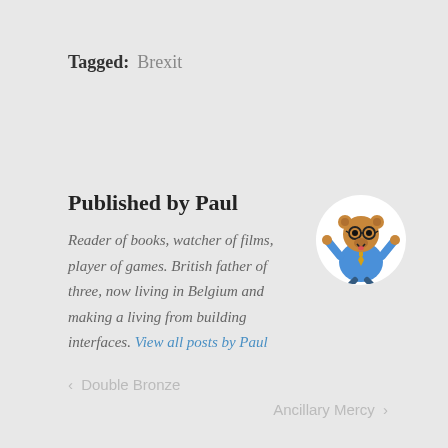Tagged: Brexit
Published by Paul
Reader of books, watcher of films, player of games. British father of three, now living in Belgium and making a living from building interfaces. View all posts by Paul
[Figure (illustration): Circular avatar image of a cartoon bear character wearing glasses and a blue suit, arms raised, with a big smile]
< Double Bronze
Ancillary Mercy >